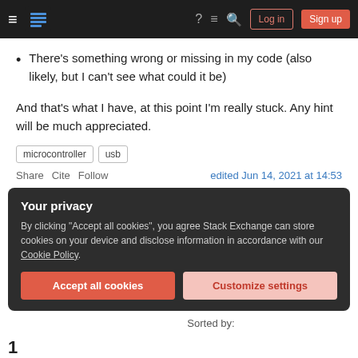Stack Exchange navigation bar with hamburger menu, logo, question mark, chat, search icons, Log in and Sign up buttons
There's something wrong or missing in my code (also likely, but I can't see what could it be)
And that's what I have, at this point I'm really stuck. Any hint will be much appreciated.
Tags: microcontroller, usb
Share  Cite  Follow    edited Jun 14, 2021 at 14:53
Your privacy
By clicking "Accept all cookies", you agree Stack Exchange can store cookies on your device and disclose information in accordance with our Cookie Policy.
[Accept all cookies] [Customize settings]
Sorted by: